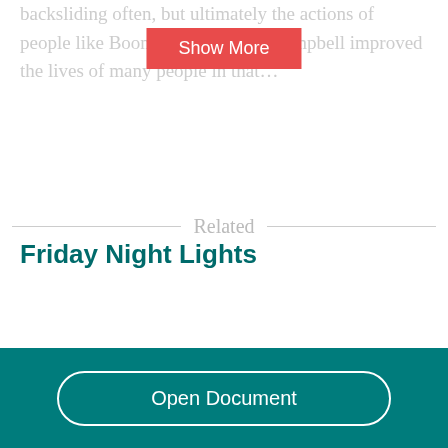backsliding often, but ultimately the actions of people like Boone, and Campbell improved the lives of many people in that…
Related
Friday Night Lights
Open Document